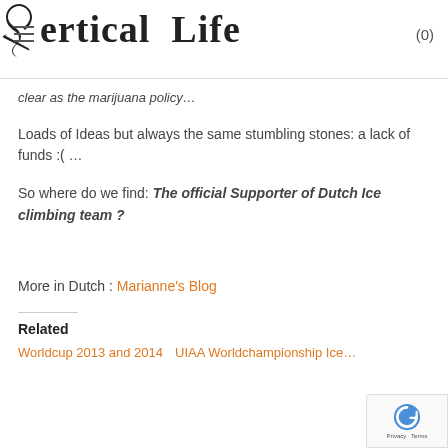Vertical Life (0)
clear as the marijuana policy…
Loads of Ideas but always the same stumbling stones: a lack of funds :( …
So where do we find: The official Supporter of Dutch Ice climbing team ?
More in Dutch : Marianne's Blog
Related
Worldcup 2013 and 2014   UIAA Worldchampionship Ice…